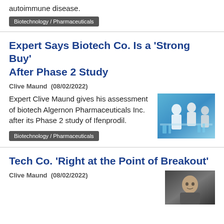autoimmune disease.
Biotechnology / Pharmaceuticals
Expert Says Biotech Co. Is a ‘Strong Buy’ After Phase 2 Study
Clive Maund  (08/02/2022)
Expert Clive Maund gives his assessment of biotech Algernon Pharmaceuticals Inc. after its Phase 2 study of Ifenprodil.
[Figure (photo): Scientists in white lab coats in a blue-toned laboratory setting]
Biotechnology / Pharmaceuticals
Tech Co. ‘Right at the Point of Breakout’
Clive Maund  (08/02/2022)
[Figure (photo): Person in dark-toned portrait photo, possibly a headshot]